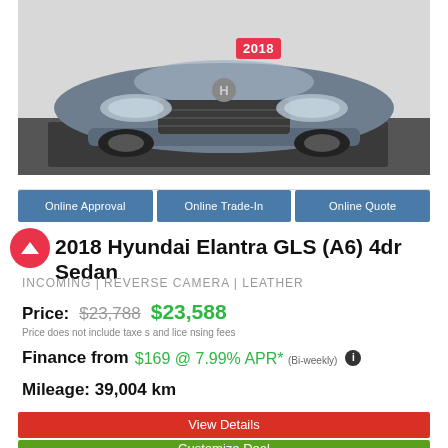[Figure (photo): Front view of a 2018 Hyundai Elantra GLS in grey/silver, photographed in a white studio with dark floor mat. Red badge showing '2018' on the front grille area.]
Online Approval | Online Trade-In | Online Quote
2018 Hyundai Elantra GLS (A6) 4dr Sedan
INCOMING | REVERSE CAMERA | LEATHER
Price: $23,788 $23,588
Price does not include taxes and licensing fees
Finance from $169 @ 7.99% APR* (Bi-weekly)
Mileage: 39,004 km
View Details
Customize Deal